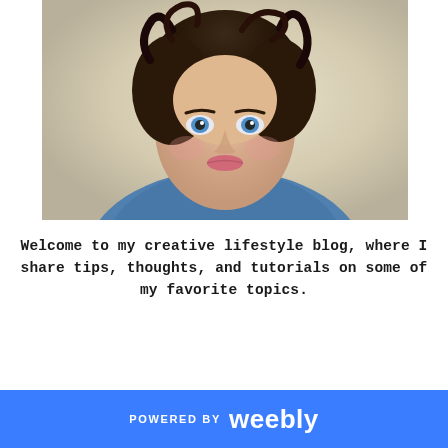[Figure (photo): Portrait photo of a woman with short dark curly hair and blue eyes, wearing a blue top, looking slightly upward, with a light beige/cream background.]
Welcome to my creative lifestyle blog, where I share tips, thoughts, and tutorials on some of my favorite topics.
POWERED BY weebly